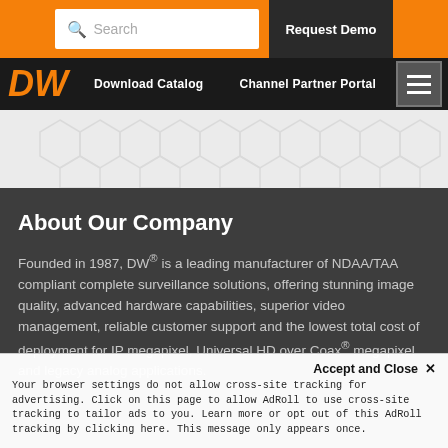[Figure (screenshot): DW website navigation header with orange top bar containing search box and Request Demo button, black nav bar with DW logo, Download Catalog and Channel Partner Portal links, and hamburger menu icon]
[Figure (illustration): Light gray hexagon pattern background decorative area]
About Our Company
Founded in 1987, DW® is a leading manufacturer of NDAA/TAA compliant complete surveillance solutions, offering stunning image quality, advanced hardware capabilities, superior video management, reliable customer support and the lowest total cost of deployment for IP megapixel, Universal HD over Coax® megapixel and legacy analog applications.
Accept and Close ×
Your browser settings do not allow cross-site tracking for advertising. Click on this page to allow AdRoll to use cross-site tracking to tailor ads to you. Learn more or opt out of this AdRoll tracking by clicking here. This message only appears once.